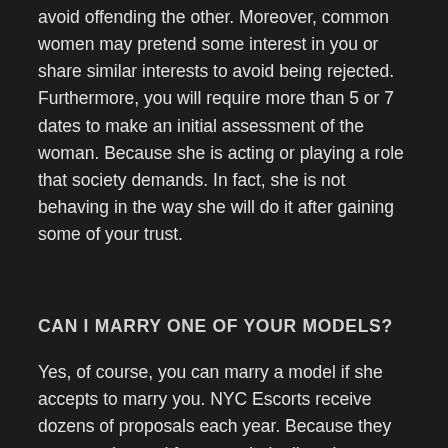avoid offending the other. Moreover, common women may pretend some interest in you or share similar interests to avoid being rejected. Furthermore, you will require more than 5 or 7 dates to make an initial assessment of the woman. Because she is acting or playing a role that society demands. In fact, she is not behaving in the way she will do it after gaining some of your trust.
CAN I MARRY ONE OF YOUR MODELS?
Yes, of course, you can marry a model if she accepts to marry you. NYC Escorts receive dozens of proposals each year. Because they are attentive and focus on their clients' enjoyment and pleasure, most men can experiment with having a crush on them. Our escorts NYC are seduction masters, and their hips can put a spell on any man. However,